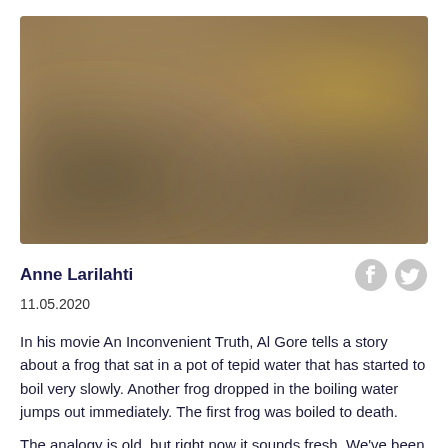[Figure (photo): Blurred outdoor photo with warm golden and muted pink/mauve tones, possibly a landscape or flowers, heavily blurred]
Anne Larilahti
11.05.2020
In his movie An Inconvenient Truth, Al Gore tells a story about a frog that sat in a pot of tepid water that has started to boil very slowly. Another frog dropped in the boiling water jumps out immediately. The first frog was boiled to death.
The analogy is old, but right now it sounds fresh. We've been sitting in a pot of water for years, watching climate change proceed on…